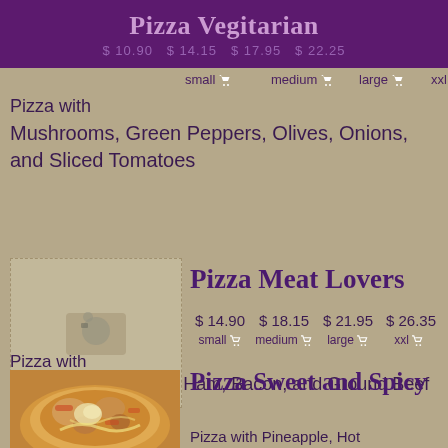Pizza Vegitarian
small  medium  large  xxl
Pizza with
Mushrooms, Green Peppers, Olives, Onions, and Sliced Tomatoes
[Figure (photo): Placeholder image box with camera icon for Pizza Meat Lovers]
Pizza Meat Lovers
$ 14.90  $ 18.15  $ 21.95  $ 26.35
small  medium  large  xxl
Pizza with
Pepperoni, Sausage, Ham, Bacon, and Ground Beef
[Figure (photo): Photo of a pizza for Pizza Sweet and Spicy section]
Pizza Sweet and Spicy
Pizza with Pineapple, Hot